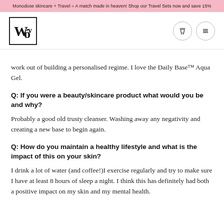Monodose skincare + Travel = A match made in heaven! Shop our Travel Sets now and save 15%
[Figure (logo): Wo brand logo in a square border]
work out of building a personalised regime. I love the Daily Base™ Aqua Gel.
Q: If you were a beauty/skincare product what would you be and why?
Probably a good old trusty cleanser. Washing away any negativity and creating a new base to begin again.
Q: How do you maintain a healthy lifestyle and what is the impact of this on your skin?
I drink a lot of water (and coffee!)I exercise regularly and try to make sure I have at least 8 hours of sleep a night. I think this has definitely had both a positive impact on my skin and my mental health.